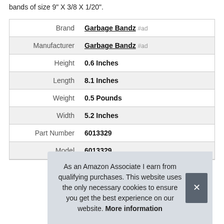bands of size 9" X 3/8 X 1/20".
|  |  |
| --- | --- |
| Brand | Garbage Bandz #ad |
| Manufacturer | Garbage Bandz #ad |
| Height | 0.6 Inches |
| Length | 8.1 Inches |
| Weight | 0.5 Pounds |
| Width | 5.2 Inches |
| Part Number | 6013329 |
| Model | 6013329 |
As an Amazon Associate I earn from qualifying purchases. This website uses the only necessary cookies to ensure you get the best experience on our website. More information